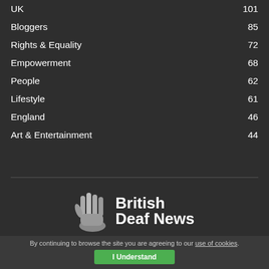UK  101
Bloggers  85
Rights & Equality  72
Empowerment  68
People  62
Lifestyle  61
England  46
Art & Entertainment  44
[Figure (logo): British Deaf News logo with hand graphic]
By continuing to browse the site you are agreeing to our use of cookies.
I Understand